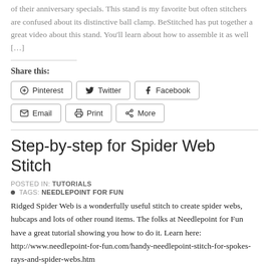of their anniversary specials. This stand is my favorite but often stitchers are confused about its distinctive ball clamp. BeStitched has put together a great video about this stand. You'll learn about how to assemble it as well […]
Share this:
[Figure (other): Share buttons row 1: Pinterest, Twitter, Facebook]
[Figure (other): Share buttons row 2: Email, Print, More]
Step-by-step for Spider Web Stitch
POSTED IN: TUTORIALS
TAGS: NEEDLEPOINT FOR FUN
Ridged Spider Web is a wonderfully useful stitch to create spider webs, hubcaps and lots of other round items. The folks at Needlepoint for Fun have a great tutorial showing you how to do it. Learn here: http://www.needlepoint-for-fun.com/handy-needlepoint-stitch-for-spokes-rays-and-spider-webs.htm